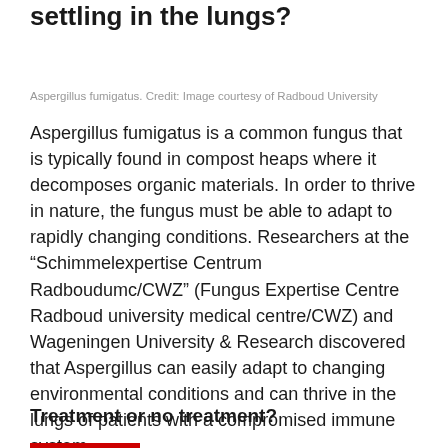settling in the lungs?
Aspergillus fumigatus. Credit: Image courtesy of Radboud University
Aspergillus fumigatus is a common fungus that is typically found in compost heaps where it decomposes organic materials. In order to thrive in nature, the fungus must be able to adapt to rapidly changing conditions. Researchers at the “Schimmelexpertise Centrum Radboudumc/CWZ” (Fungus Expertise Centre Radboud university medical centre/CWZ) and Wageningen University & Research discovered that Aspergillus can easily adapt to changing environmental conditions and can thrive in the lungs of patients with a compromised immune system.
Treatment or no treatment?